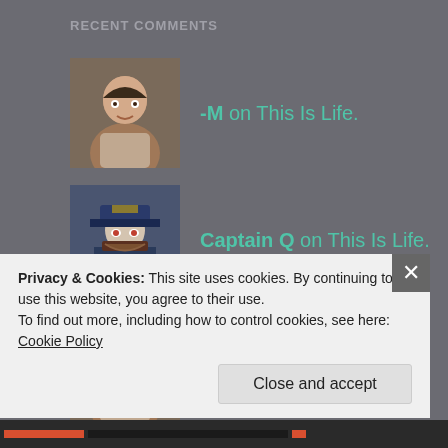RECENT COMMENTS
-M on This Is Life.
Captain Q on This Is Life.
-M on This Is Life.
Captain Q on Fancy Dresses & Heels
threewintryfriends on Fancy Dresses & Heels
Privacy & Cookies: This site uses cookies. By continuing to use this website, you agree to their use.
To find out more, including how to control cookies, see here: Cookie Policy
Close and accept